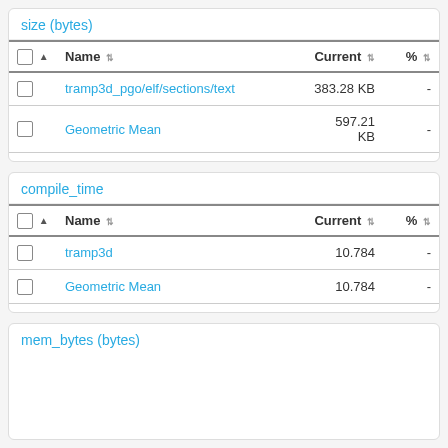|  | Name | Current | % |
| --- | --- | --- | --- |
| ☐ | tramp3d_pgo/elf/sections/text | 383.28 KB | - |
| ☐ | Geometric Mean | 597.21 KB | - |
|  | Name | Current | % |
| --- | --- | --- | --- |
| ☐ | tramp3d | 10.784 | - |
| ☐ | Geometric Mean | 10.784 | - |
mem_bytes (bytes)